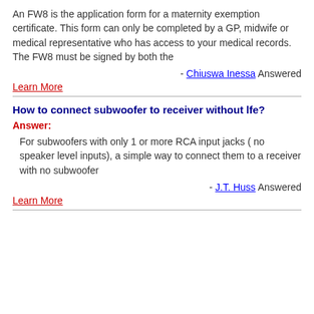An FW8 is the application form for a maternity exemption certificate. This form can only be completed by a GP, midwife or medical representative who has access to your medical records. The FW8 must be signed by both the
- Chiuswa Inessa Answered
Learn More
How to connect subwoofer to receiver without lfe?
Answer:
For subwoofers with only 1 or more RCA input jacks ( no speaker level inputs), a simple way to connect them to a receiver with no subwoofer
- J.T. Huss Answered
Learn More